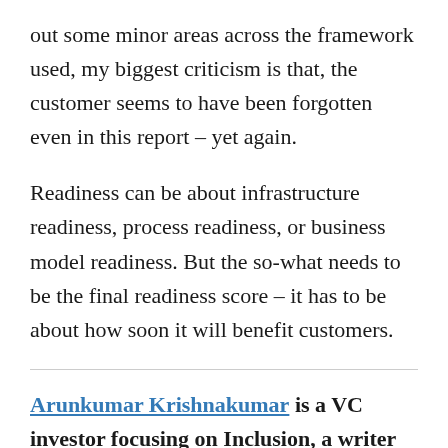out some minor areas across the framework used, my biggest criticism is that, the customer seems to have been forgotten even in this report – yet again.
Readiness can be about infrastructure readiness, process readiness, or business model readiness. But the so-what needs to be the final readiness score – it has to be about how soon it will benefit customers.
Arunkumar Krishnakumar is a VC investor focusing on Inclusion, a writer and